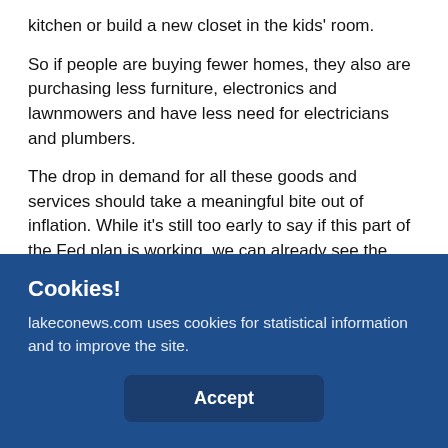kitchen or build a new closet in the kids' room.
So if people are buying fewer homes, they also are purchasing less furniture, electronics and lawnmowers and have less need for electricians and plumbers.
The drop in demand for all these goods and services should take a meaningful bite out of inflation. While it's still too early to say if this part of the Fed plan is working, we can already see the effects of rising mortgage rates in recent housing data.
In recent months, fewer new houses are being built, fewer existing homes are being sold and homebuyers are
Cookies!
lakeconews.com uses cookies for statistical information and to improve the site.
Accept